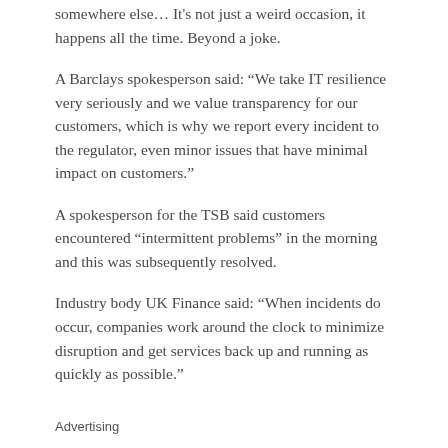somewhere else… It's not just a weird occasion, it happens all the time. Beyond a joke.
A Barclays spokesperson said: “We take IT resilience very seriously and we value transparency for our customers, which is why we report every incident to the regulator, even minor issues that have minimal impact on customers.”
A spokesperson for the TSB said customers encountered “intermittent problems” in the morning and this was subsequently resolved.
Industry body UK Finance said: “When incidents do occur, companies work around the clock to minimize disruption and get services back up and running as quickly as possible.”
Advertising